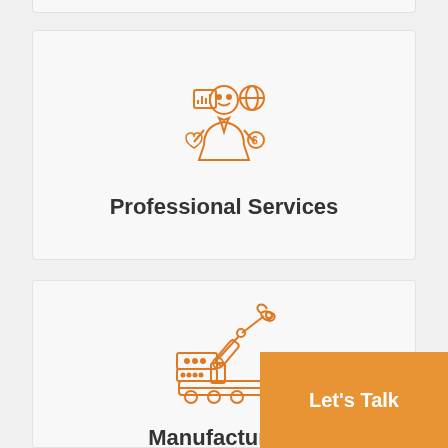[Figure (illustration): Orange line-art icon of a professional/businessperson with a chart, globe, heart, and coin symbols]
Professional Services
[Figure (illustration): Orange line-art icon of a manufacturing robotic arm with machine base]
Manufacturing
Let's Talk